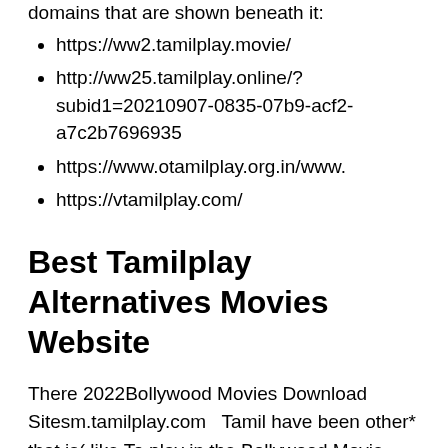domains that are shown beneath it:
https://ww2.tamilplay.movie/
http://ww25.tamilplay.online/?subid1=20210907-0835-07b9-acf2-a7c2b7696935
https://www.otamilplay.org.in/www.
https://vtamilplay.com/
Best Tamilplay Alternatives Movies Website
There 2022Bollywood Movies Download Sitesm.tamilplay.com   Tamil have been other* that is( like To play in the Bollywood Movie Free world, which provides you with the office of web-based streaming and downloading.